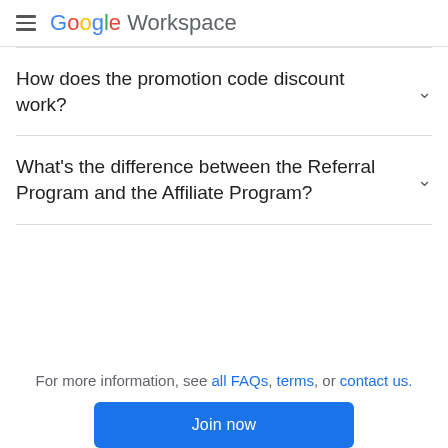Google Workspace
How does the promotion code discount work?
What's the difference between the Referral Program and the Affiliate Program?
For more information, see all FAQs, terms, or contact us.
Join now